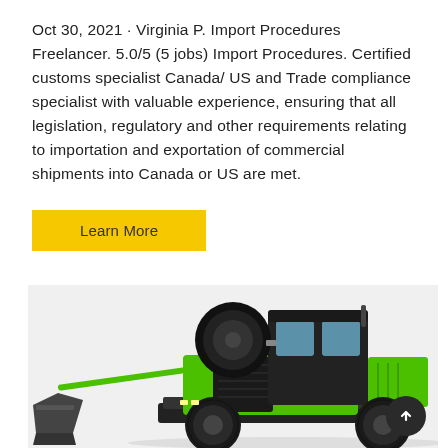Oct 30, 2021 · Virginia P. Import Procedures Freelancer. 5.0/5 (5 jobs) Import Procedures. Certified customs specialist Canada/ US and Trade compliance specialist with valuable experience, ensuring that all legislation, regulatory and other requirements relating to importation and exportation of commercial shipments into Canada or US are met.
Learn More
[Figure (photo): Green industrial machine/vehicle with a cab, loader attachment on the front left, and large tires, displayed on a light gray background.]